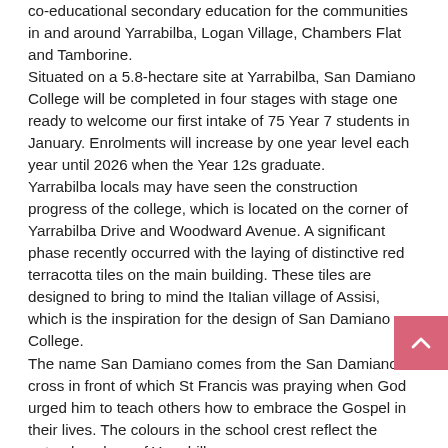co-educational secondary education for the communities in and around Yarrabilba, Logan Village, Chambers Flat and Tamborine. Situated on a 5.8-hectare site at Yarrabilba, San Damiano College will be completed in four stages with stage one ready to welcome our first intake of 75 Year 7 students in January. Enrolments will increase by one year level each year until 2026 when the Year 12s graduate. Yarrabilba locals may have seen the construction progress of the college, which is located on the corner of Yarrabilba Drive and Woodward Avenue. A significant phase recently occurred with the laying of distinctive red terracotta tiles on the main building. These tiles are designed to bring to mind the Italian village of Assisi, which is the inspiration for the design of San Damiano College. The name San Damiano comes from the San Damiano cross in front of which St Francis was praying when God urged him to teach others how to embrace the Gospel in their lives. The colours in the school crest reflect the natural ecology of Yarrabilba.